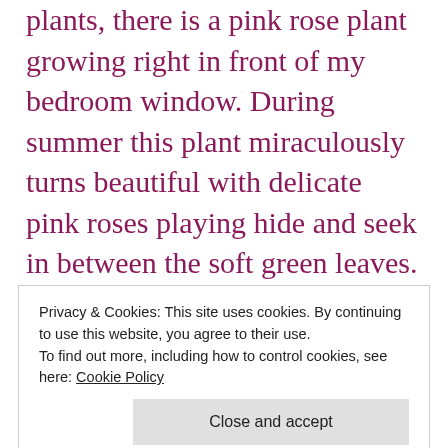plants, there is a pink rose plant growing right in front of my bedroom window. During summer this plant miraculously turns beautiful with delicate pink roses playing hide and seek in between the soft green leaves. Being a plant lover, I cherish this cute friend of mine and try to keep away the weeds and plastic bits from the plant's area. By the way, this plant is easily accessible to passers by as the house faces the busy high street. My love
Privacy & Cookies: This site uses cookies. By continuing to use this website, you agree to their use.
To find out more, including how to control cookies, see here: Cookie Policy
outside my window, enjoying the fully